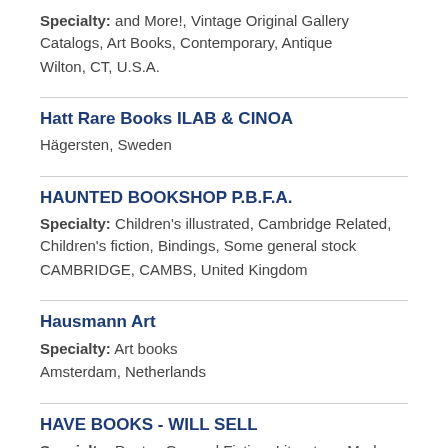Specialty: and More!, Vintage Original Gallery Catalogs, Art Books, Contemporary, Antique
Wilton, CT, U.S.A.
Hatt Rare Books ILAB & CINOA
Hägersten, Sweden
HAUNTED BOOKSHOP P.B.F.A.
Specialty: Children's illustrated, Cambridge Related, Children's fiction, Bindings, Some general stock
CAMBRIDGE, CAMBS, United Kingdom
Hausmann Art
Specialty: Art books
Amsterdam, Netherlands
HAVE BOOKS - WILL SELL
Specialty: Poetry, General Fiction, Literature, Modern First Editions, Children's Classics, Natural History, Military History, Science Fiction, Mystery
Wind Lake, WI, U.S.A.